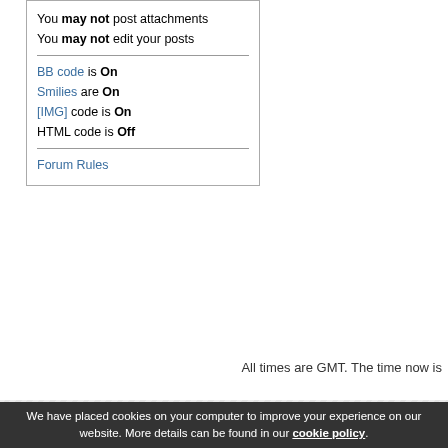You may not post attachments
You may not edit your posts
BB code is On
Smilies are On
[IMG] code is On
HTML code is Off
Forum Rules
All times are GMT. The time now is
We have placed cookies on your computer to improve your experience on our website. More details can be found in our cookie policy.